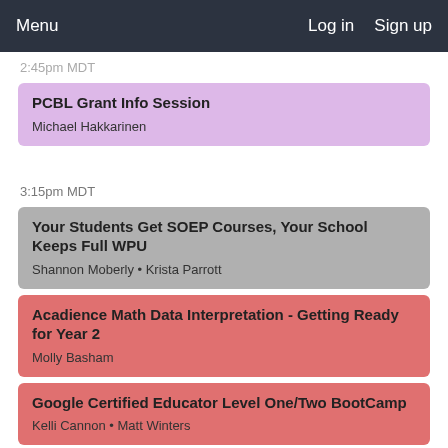Menu   Log in   Sign up
2:45pm MDT
PCBL Grant Info Session
Michael Hakkarinen
3:15pm MDT
Your Students Get SOEP Courses, Your School Keeps Full WPU
Shannon Moberly • Krista Parrott
Acadience Math Data Interpretation - Getting Ready for Year 2
Molly Basham
Google Certified Educator Level One/Two BootCamp
Kelli Cannon • Matt Winters